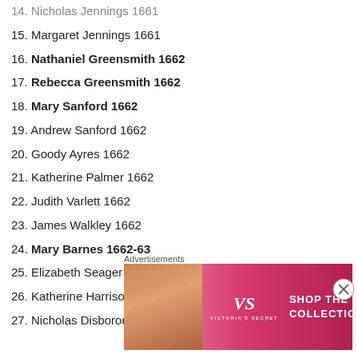14. Nicholas Jennings 1661
15. Margaret Jennings 1661
16. Nathaniel Greensmith 1662
17. Rebecca Greensmith 1662
18. Mary Sanford 1662
19. Andrew Sanford 1662
20. Goody Ayres 1662
21. Katherine Palmer 1662
22. Judith Varlett 1662
23. James Walkley 1662
24. Mary Barnes 1662-63
25. Elizabeth Seager 1666
26. Katherine Harrison 1669
27. Nicholas Disborough 1683
Advertisements
[Figure (other): Victoria's Secret advertisement banner with model photo, VS logo, 'SHOP THE COLLECTION' text, and 'SHOP NOW' button]